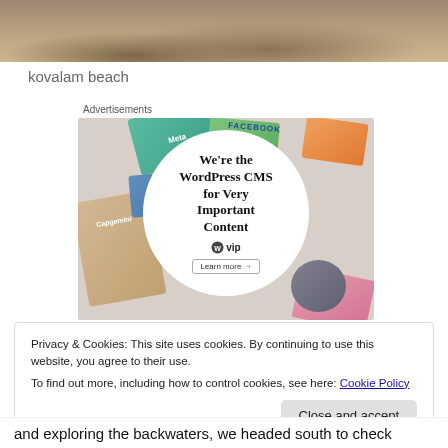[Figure (photo): Beach photo showing sandy shore with palm fronds — kovalam beach]
kovalam beach
Advertisements
[Figure (screenshot): WordPress VIP advertisement. Shows colorful brand cards (Meta, Facebook, Capgemini, Salesforce, etc.) in the background with a white circle in the center reading: We're the WordPress CMS for Very Important Content. WordPress VIP logo with Learn more button.]
Privacy & Cookies: This site uses cookies. By continuing to use this website, you agree to their use.
To find out more, including how to control cookies, see here: Cookie Policy
Close and accept
and exploring the backwaters, we headed south to check